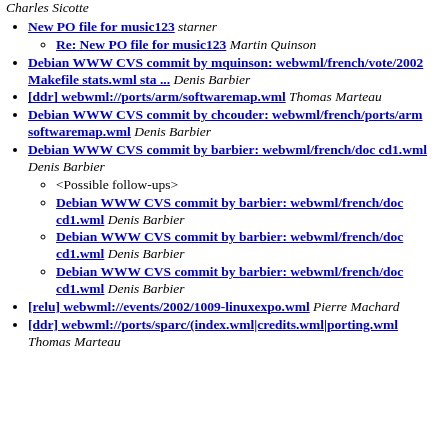Charles Sicotte
New PO file for music123 starner
Re: New PO file for music123 Martin Quinson
Debian WWW CVS commit by mquinson: webwml/french/vote/2002 Makefile stats.wml sta ... Denis Barbier
[ddr] webwml://ports/arm/softwaremap.wml Thomas Marteau
Debian WWW CVS commit by chcouder: webwml/french/ports/arm softwaremap.wml Denis Barbier
Debian WWW CVS commit by barbier: webwml/french/doc cd1.wml Denis Barbier
<Possible follow-ups>
Debian WWW CVS commit by barbier: webwml/french/doc cd1.wml Denis Barbier
Debian WWW CVS commit by barbier: webwml/french/doc cd1.wml Denis Barbier
Debian WWW CVS commit by barbier: webwml/french/doc cd1.wml Denis Barbier
[relu] webwml://events/2002/1009-linuxexpo.wml Pierre Machard
[ddr] webwml://ports/sparc/(index.wml|credits.wml|porting.wml Thomas Marteau